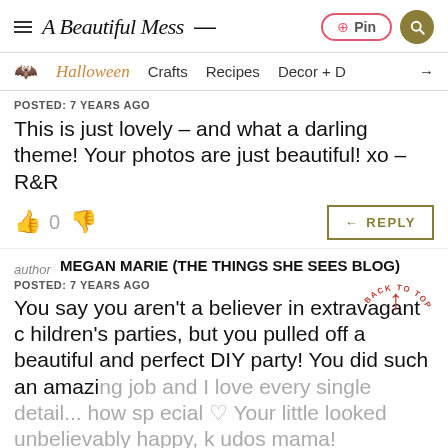A Beautiful Mess — Pin | Search
Halloween | Crafts | Recipes | Decor + More
POSTED: 7 YEARS AGO
This is just lovely – and what a darling theme! Your photos are just beautiful! xo – R&R
0 REPLY
MEGAN MARIE (THE THINGS SHE SEES BLOG)
author
POSTED: 7 YEARS AGO
You say you aren't a believer in extravagant children's parties, but you pulled off a beautiful and perfect DIY party! You did such an amazing job and I love every single detail... how special ♡ Your little looked unbelievably happy, kudos mama!